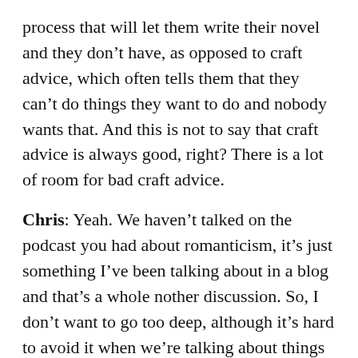process that will let them write their novel and they don’t have, as opposed to craft advice, which often tells them that they can’t do things they want to do and nobody wants that. And this is not to say that craft advice is always good, right? There is a lot of room for bad craft advice.
Chris: Yeah. We haven’t talked on the podcast you had about romanticism, it’s just something I’ve been talking about in a blog and that’s a whole nother discussion. So, I don’t want to go too deep, although it’s hard to avoid it when we’re talking about things like why are people giving lots of process advice when maybe in some cases they should be giving craft advice. But the whole cultural romanticism includes the idea that great works are made when